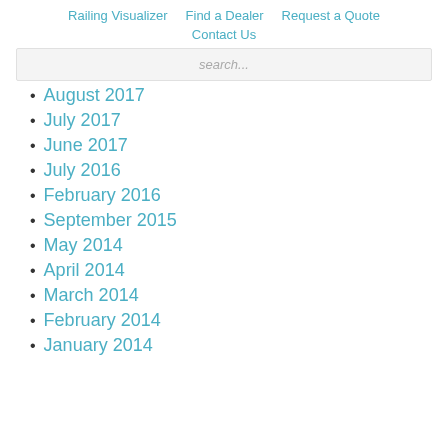Railing Visualizer   Find a Dealer   Request a Quote   Contact Us
search...
August 2017
July 2017
June 2017
July 2016
February 2016
September 2015
May 2014
April 2014
March 2014
February 2014
January 2014